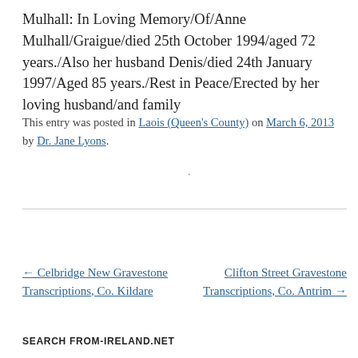Mulhall: In Loving Memory/Of/Anne Mulhall/Graigue/died 25th October 1994/aged 72 years./Also her husband Denis/died 24th January 1997/Aged 85 years./Rest in Peace/Erected by her loving husband/and family
This entry was posted in Laois (Queen's County) on March 6, 2013 by Dr. Jane Lyons.
·
← Celbridge New Gravestone Transcriptions, Co. Kildare
Clifton Street Gravestone Transcriptions, Co. Antrim →
SEARCH FROM-IRELAND.NET